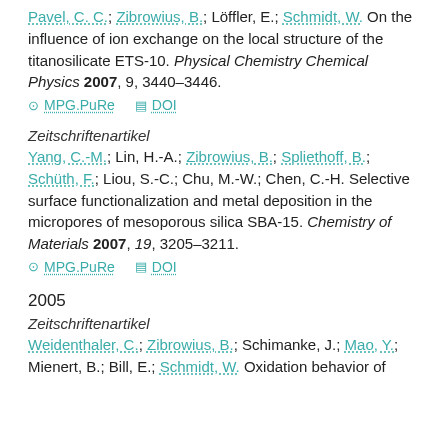Pavel, C. C.; Zibrowius, B.; Löffler, E.; Schmidt, W. On the influence of ion exchange on the local structure of the titanosilicate ETS-10. Physical Chemistry Chemical Physics 2007, 9, 3440–3446.
MPG.PuRe   DOI
Zeitschriftenartikel
Yang, C.-M.; Lin, H.-A.; Zibrowius, B.; Spliethoff, B.; Schüth, F.; Liou, S.-C.; Chu, M.-W.; Chen, C.-H. Selective surface functionalization and metal deposition in the micropores of mesoporous silica SBA-15. Chemistry of Materials 2007, 19, 3205–3211.
MPG.PuRe   DOI
2005
Zeitschriftenartikel
Weidenthaler, C.; Zibrowius, B.; Schimanke, J.; Mao, Y.; Mienert, B.; Bill, E.; Schmidt, W. Oxidation behavior of